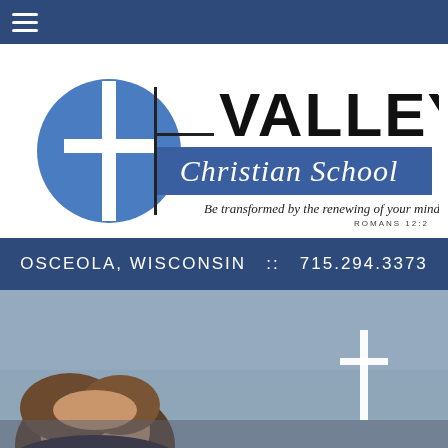Navigation bar with hamburger menu
[Figure (logo): Valley Christian School logo with blue cross, 'VALLEY' in bold black, 'Christian School' on blue background, and tagline 'Be transformed by the renewing of your mind - Romans 12:2' in cursive]
OSCEOLA, WISCONSIN  ::  715.294.3373
[Figure (photo): Outdoor photo showing a student in the foreground and a white cross in the background against a grey sky]